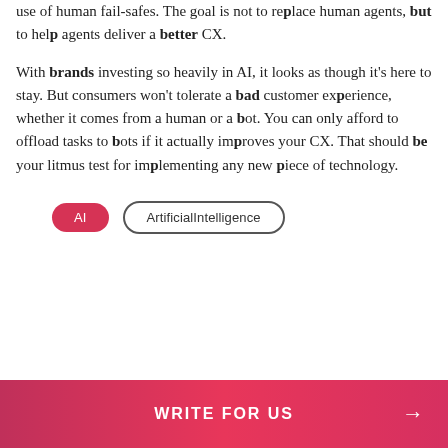use of human fail-safes. The goal is not to replace human agents, but to help agents deliver a better CX.
With brands investing so heavily in AI, it looks as though it's here to stay. But consumers won't tolerate a bad customer experience, whether it comes from a human or a bot. You can only afford to offload tasks to bots if it actually improves your CX. That should be your litmus test for implementing any new piece of technology.
AI
ArtificialIntelligence
WRITE FOR US →